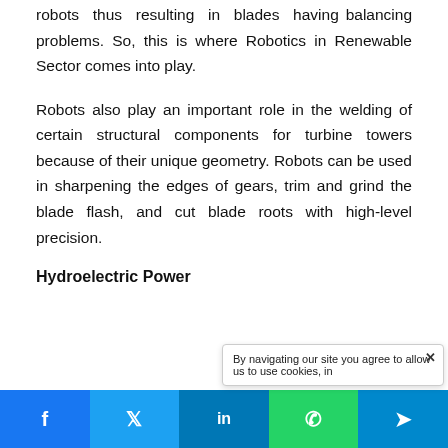robots thus resulting in blades having balancing problems. So, this is where Robotics in Renewable Sector comes into play.
Robots also play an important role in the welding of certain structural components for turbine towers because of their unique geometry. Robots can be used in sharpening the edges of gears, trim and grind the blade flash, and cut blade roots with high-level precision.
Hydroelectric Power